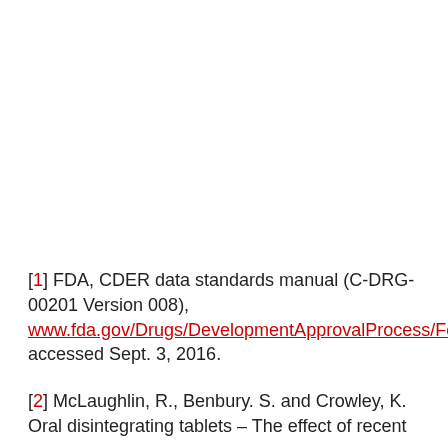[1] FDA, CDER data standards manual (C-DRG-00201 Version 008), www.fda.gov/Drugs/DevelopmentApprovalProcess/FormsSubmissionRequirements/DataStandardsManualmonographs/ucm071666.htm, accessed Sept. 3, 2016.
[2] McLaughlin, R., Benbury. S. and Crowley, K. Oral disintegrating tablets – The effect of recent